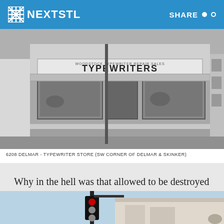NEXTSTL | SHARE
[Figure (photo): Black and white photograph of a storefront with a sign reading TYPEWRITERS at 6208 Delmar, the SW corner of Delmar & Skinker]
6208 DELMAR - TYPEWRITER STORE (SW CORNER OF DELMAR & SKINKER)
Why in the hell was that allowed to be destroyed for surface parking at such a prominent intersection?
Here’s what we have instead of the two beautiful buildings above:
[Figure (photo): Partial view of a street scene showing a traffic light and the top of a building against a light blue sky, representing what replaced the buildings]